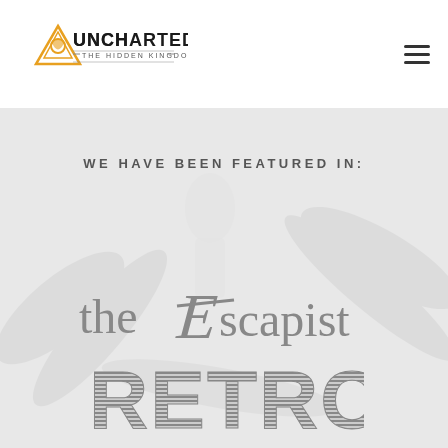[Figure (logo): Uncharted The Hidden Kingdom logo — stylized text with orange/gold triforce-like symbol, subtitle reads THE HIDDEN KINGDOM]
[Figure (logo): Hamburger menu icon — three horizontal lines]
WE HAVE BEEN FEATURED IN:
[Figure (logo): The Escapist logo in gray — lowercase text with a decorative cursive E in 'Escapist']
[Figure (logo): RETRO logo in gray — bold distressed/striped lettering, partially visible at bottom of page]